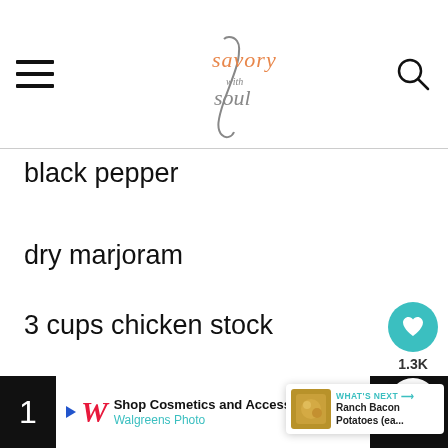savory with soul
black pepper
dry marjoram
3 cups chicken stock
½ cup sour cream or plain yogurt (thick style)
Shop Cosmetics and Accessories Walgreens Photo